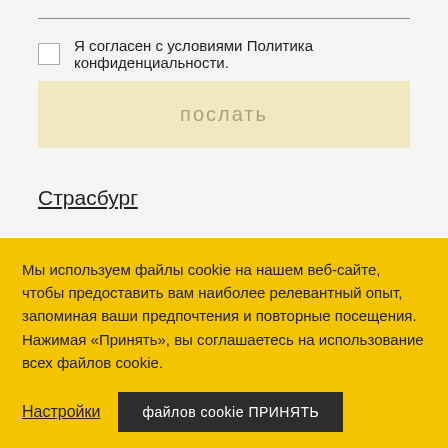Я согласен с условиями Политика конфиденциальности.
послать
Страсбург
Мы используем файлы cookie на нашем веб-сайте, чтобы предоставить вам наиболее релевантный опыт, запоминая ваши предпочтения и повторные посещения. Нажимая «Принять», вы соглашаетесь на использование всех файлов cookie.
Настройки
файлов cookie ПРИНЯТЬ